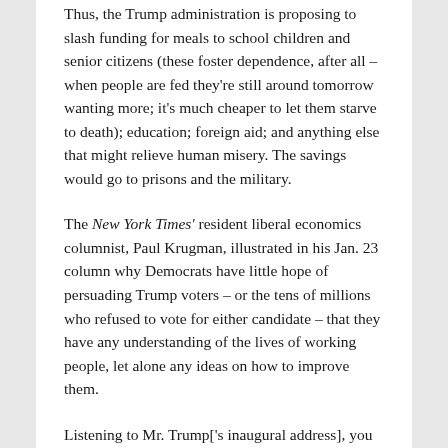Thus, the Trump administration is proposing to slash funding for meals to school children and senior citizens (these foster dependence, after all – when people are fed they're still around tomorrow wanting more; it's much cheaper to let them starve to death); education; foreign aid; and anything else that might relieve human misery. The savings would go to prisons and the military.
The New York Times' resident liberal economics columnist, Paul Krugman, illustrated in his Jan. 23 column why Democrats have little hope of persuading Trump voters – or the tens of millions who refused to vote for either candidate – that they have any understanding of the lives of working people, let alone any ideas on how to improve them.
Listening to Mr. Trump['s inaugural address], you might have thought America was in the midst of a full-scale depression, with 'rusted-out factories scattered like tombstones across the landscape of our nation.' Manufacturing employment is indeed down since 2000, but overall employment is way up, and the